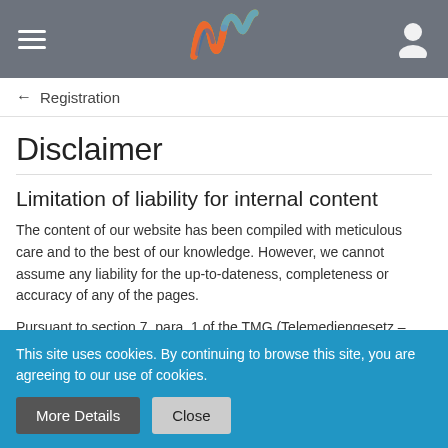Navigation header with hamburger menu, colorful W logo, and user icon
← Registration
Disclaimer
Limitation of liability for internal content
The content of our website has been compiled with meticulous care and to the best of our knowledge. However, we cannot assume any liability for the up-to-dateness, completeness or accuracy of any of the pages.
Pursuant to section 7, para. 1 of the TMG (Telemediengesetz – Tele Media Act by German law), we as service providers are liable for our
This site uses cookies. By continuing to browse this site, you are agreeing to our use of cookies.